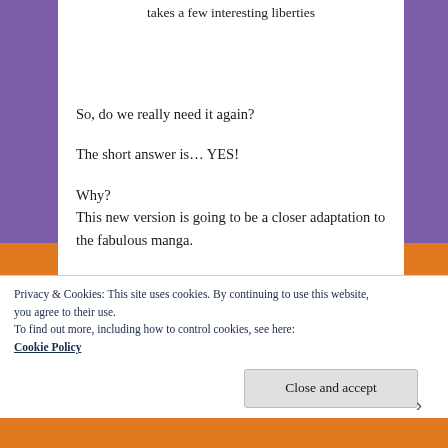takes a few interesting liberties
So, do we really need it again?

The short answer is... YES!

Why?
This new version is going to be a closer adaptation to the fabulous manga.
Privacy & Cookies: This site uses cookies. By continuing to use this website, you agree to their use.
To find out more, including how to control cookies, see here:
Cookie Policy
Close and accept